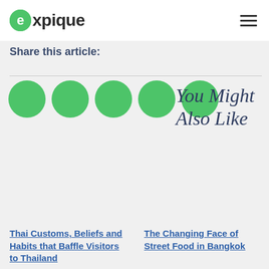expique
Share this article:
[Figure (other): Five green social sharing circles]
You Might Also Like
Thai Customs, Beliefs and Habits that Baffle Visitors to Thailand
The Changing Face of Street Food in Bangkok